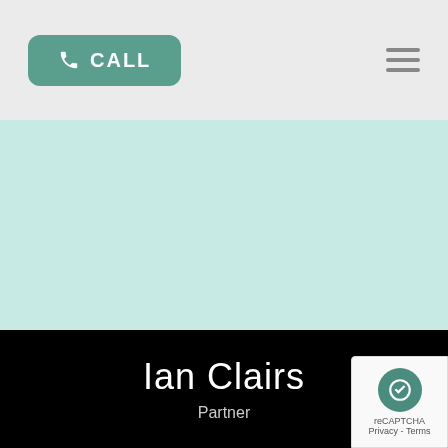CALL
[Figure (screenshot): Teal/mint colored background section serving as hero image area]
Ian Clairs
Partner